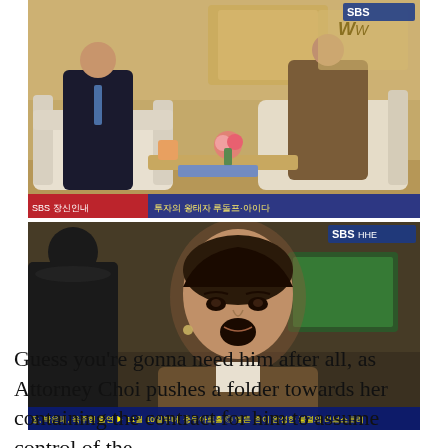[Figure (screenshot): TV drama screenshot showing two people seated on sofas in an elegant room. A man in a dark suit and blue tie sits on the left, and a woman in a brown blazer sits on the right. Flowers on a coffee table between them. SBS network watermark and Korean subtitle text visible at the bottom.]
[Figure (screenshot): TV drama screenshot showing a close-up of a woman in a brown blazer with dark hair pulled back, looking slightly to the side. A man in dark clothing is partially visible on the left edge. SBS network watermark and Korean subtitle text visible at the bottom.]
Guess you’re gonna need him after all, as Attorney Choi pushes a folder towards her containing the contract for him to assume control of the